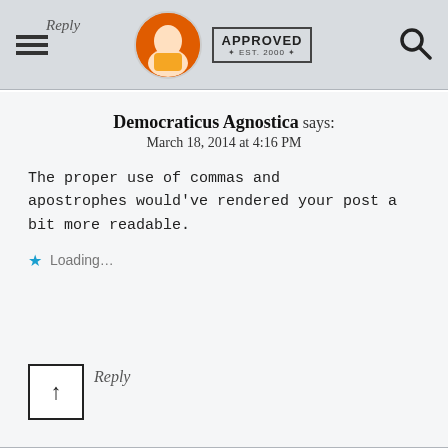Reply | APPROVED * EST. 2000 *
Democraticus Agnostica says:
March 18, 2014 at 4:16 PM
The proper use of commas and apostrophes would've rendered your post a bit more readable.
Loading...
Reply